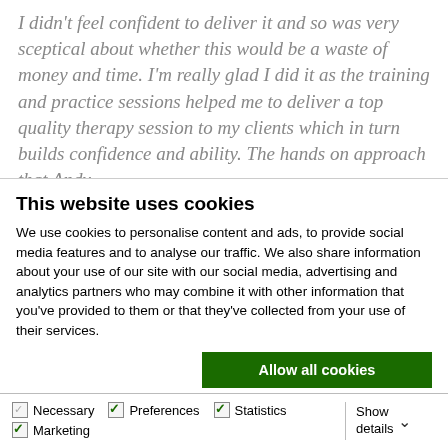I didn't feel confident to deliver it and so was very sceptical about whether this would be a waste of money and time. I'm really glad I did it as the training and practice sessions helped me to deliver a top quality therapy session to my clients which in turn builds confidence and ability. The hands on approach that Andy
This website uses cookies
We use cookies to personalise content and ads, to provide social media features and to analyse our traffic. We also share information about your use of our site with our social media, advertising and analytics partners who may combine it with other information that you've provided to them or that they've collected from your use of their services.
Allow all cookies
Allow selection
Use necessary cookies only
Necessary | Preferences | Statistics | Marketing | Show details